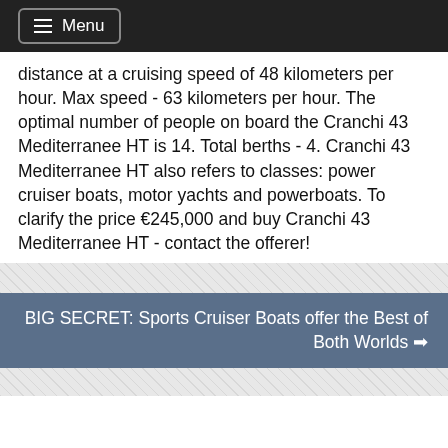Menu
distance at a cruising speed of 48 kilometers per hour. Max speed - 63 kilometers per hour. The optimal number of people on board the Cranchi 43 Mediterranee HT is 14. Total berths - 4. Cranchi 43 Mediterranee HT also refers to classes: power cruiser boats, motor yachts and powerboats. To clarify the price €245,000 and buy Cranchi 43 Mediterranee HT - contact the offerer!
BIG SECRET: Sports Cruiser Boats offer the Best of Both Worlds →